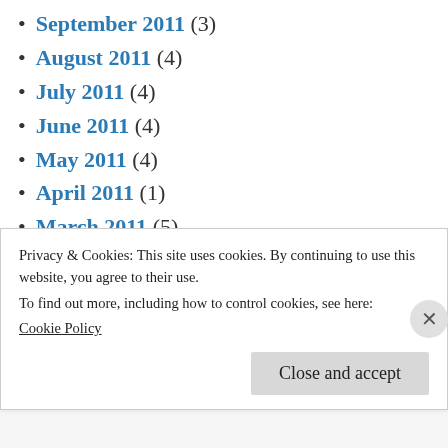September 2011 (3)
August 2011 (4)
July 2011 (4)
June 2011 (4)
May 2011 (4)
April 2011 (1)
March 2011 (5)
February 2011 (4)
January 2011 (5)
November 2010 (1)
September 2010 (1)
Privacy & Cookies: This site uses cookies. By continuing to use this website, you agree to their use.
To find out more, including how to control cookies, see here:
Cookie Policy
Close and accept